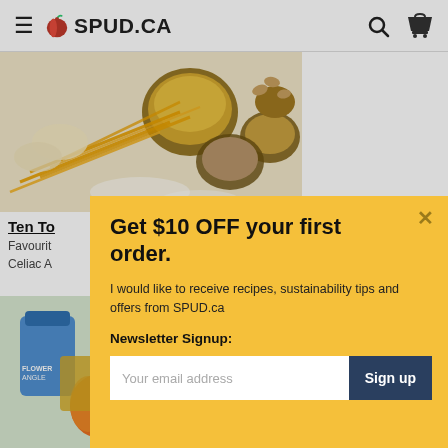SPUD.CA
[Figure (photo): Overhead view of various dry goods including pasta, grains, seeds, and nuts in bowls on a white background]
Ten To
Favourit
Celiac A
[Figure (photo): Grocery items including a blue bag of flour/sugar and orange bell peppers]
Get $10 OFF your first order.
I would like to receive recipes, sustainability tips and offers from SPUD.ca
Newsletter Signup:
Your email address
Sign up